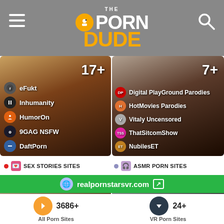The Porn Dude
[Figure (screenshot): Left card with 17+ sites including eFukt, Inhumanity, HumorOn, 9GAG NSFW, DaftPorn]
[Figure (screenshot): Right card with 7+ sites including Digital PlayGround Parodies, HotMovies Parodies, Vitaly Uncensored, ThatSitcomShow, NubilesET]
SEX STORIES SITES
ASMR PORN SITES
[Figure (screenshot): Bottom left card showing 26+]
[Figure (screenshot): Bottom right card showing 22+]
realpornstarsvr.com
3686+
All Porn Sites
24+
VR Porn Sites